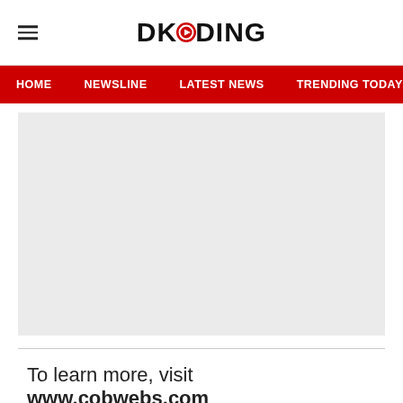DKODING
HOME  NEWSLINE  LATEST NEWS  TRENDING TODAY  ENT
[Figure (other): Large light gray placeholder image block]
To learn more, visit www.cobwebs.com